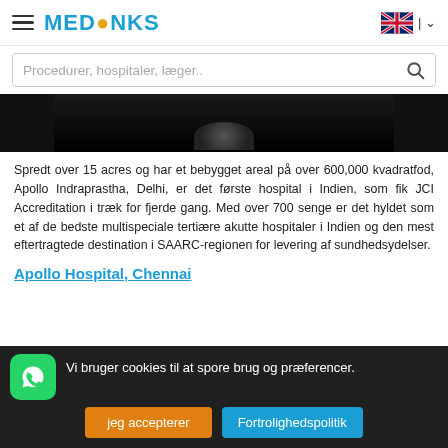MEDMONKS navigation header with hamburger menu and UK language selector
Procedurer, hospitaler, læger..
[Figure (photo): Dark/black hospital image, partially visible]
Spredt over 15 acres og har et bebygget areal på over 600,000 kvadratfod, Apollo Indraprastha, Delhi, er det første hospital i Indien, som fik JCI Accreditation i træk for fjerde gang. Med over 700 senge er det hyltet som et af de bedste multispeciale tertiære akutte hospitaler i Indien og den mest eftertragtede destination i SAARC-regionen for levering af sundhedsydelser.
Apollo Hospital, Chennai
Vi bruger cookies til at spore brug og præferencer.
jeg accepterer  Fortrolighedspolitik